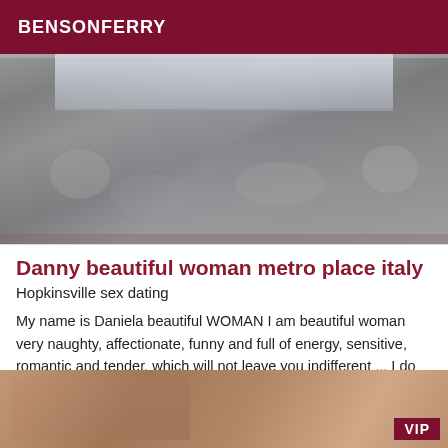BENSONFERRY
[Figure (photo): Close-up photo of an ornate silver decorative mirror frame with intricate carved floral and scroll patterns. A reflection is partially visible in the upper portion of the mirror.]
Danny beautiful woman metro place italy
Hopkinsville sex dating
My name is Daniela beautiful WOMAN I am beautiful woman very naughty, affectionate, funny and full of energy, sensitive, romantic and tender, which will not leave you indifferent ... I do full body massages with softness.
[Figure (photo): Partial photo of a person, bottom portion of page, with a VIP badge overlay in the bottom-right corner.]